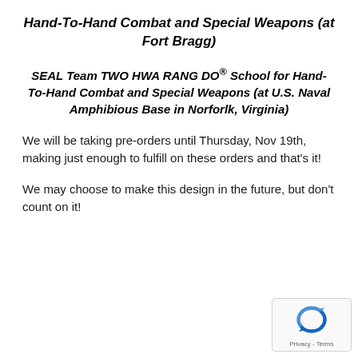Hand-To-Hand Combat and Special Weapons (at Fort Bragg)
SEAL Team TWO HWA RANG DO® School for Hand-To-Hand Combat and Special Weapons (at U.S. Naval Amphibious Base in Norforlk, Virginia)
We will be taking pre-orders until Thursday, Nov 19th, making just enough to fulfill on these orders and that's it!
We may choose to make this design in the future, but don't count on it!
[Figure (logo): reCAPTCHA badge with rotating arrows icon and Privacy - Terms text]